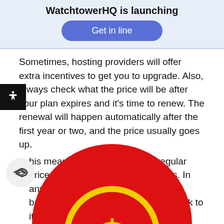WatchtowerHQ is launching
Get in line
Sometimes, hosting providers will offer extra incentives to get you to upgrade. Also, always check what the price will be after your plan expires and it's time to renew. The renewal will happen automatically after the first year or two, and the price usually goes up.
This means you'll be charged a regular price instead of first-time user rates. In any case, you need to set a budget based on your website needs and stick to it.
[Figure (illustration): Red circle with a yellow dollar coin sign icon, partially visible at the bottom of the page]